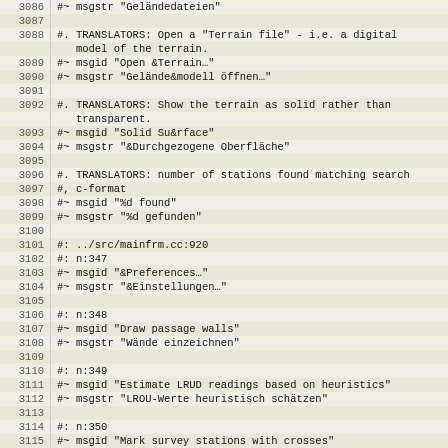Code listing lines 3086-3116, gettext PO file translation entries
| Line | Code |
| --- | --- |
| 3086 | #~ msgstr "Geländedateien" |
| 3087 |  |
| 3088 | #. TRANSLATORS: Open a "Terrain file" - i.e. a digital model of the terrain. |
| 3089 | #~ msgid "Open &Terrain..." |
| 3090 | #~ msgstr "Gelände&modell öffnen..." |
| 3091 |  |
| 3092 | #. TRANSLATORS: Show the terrain as solid rather than transparent. |
| 3093 | #~ msgid "Solid Su&rface" |
| 3094 | #~ msgstr "&Durchgezogene Oberfläche" |
| 3095 |  |
| 3096 | #. TRANSLATORS: number of stations found matching search |
| 3097 | #, c-format |
| 3098 | #~ msgid "%d found" |
| 3099 | #~ msgstr "%d gefunden" |
| 3100 |  |
| 3101 | #: ../src/mainfrm.cc:920 |
| 3102 | #: n:347 |
| 3103 | #~ msgid "&Preferences..." |
| 3104 | #~ msgstr "&Einstellungen..." |
| 3105 |  |
| 3106 | #: n:348 |
| 3107 | #~ msgid "Draw passage walls" |
| 3108 | #~ msgstr "Wände einzeichnen" |
| 3109 |  |
| 3110 | #: n:349 |
| 3111 | #~ msgid "Estimate LRUD readings based on heuristics" |
| 3112 | #~ msgstr "LROU-Werte heuristisch schätzen" |
| 3113 |  |
| 3114 | #: n:350 |
| 3115 | #~ msgid "Mark survey stations with crosses" |
| 3116 | #~ msgstr "Messpunkte durch Kreuze markieren" |